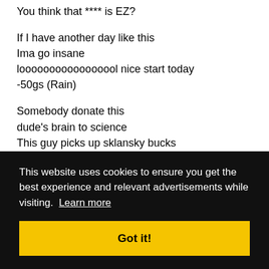You think that **** is EZ?

If I have another day like this
Ima go insane
looooooooooooooool nice start today
-50gs (Rain)

Somebody donate this
dude's brain to science
This guy picks up sklansky bucks
like hookers pick up clients

But what if I told you this was
This website uses cookies to ensure you get the best experience and relevant advertisements while visiting. Learn more

Got it!